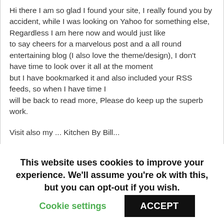Hi there I am so glad I found your site, I really found you by accident, while I was looking on Yahoo for something else, Regardless I am here now and would just like to say cheers for a marvelous post and a all round entertaining blog (I also love the theme/design), I don't have time to look over it all at the moment but I have bookmarked it and also included your RSS feeds, so when I have time I will be back to read more, Please do keep up the superb work.
Visit also my ... Kitchen By Bill...
This website uses cookies to improve your experience. We'll assume you're ok with this, but you can opt-out if you wish.
Cookie settings
ACCEPT